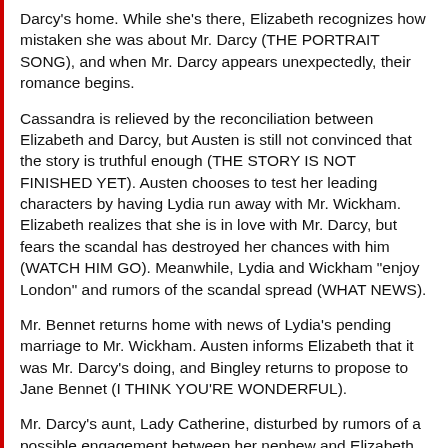Darcy's home. While she's there, Elizabeth recognizes how mistaken she was about Mr. Darcy (THE PORTRAIT SONG), and when Mr. Darcy appears unexpectedly, their romance begins.
Cassandra is relieved by the reconciliation between Elizabeth and Darcy, but Austen is still not convinced that the story is truthful enough (THE STORY IS NOT FINISHED YET). Austen chooses to test her leading characters by having Lydia run away with Mr. Wickham. Elizabeth realizes that she is in love with Mr. Darcy, but fears the scandal has destroyed her chances with him (WATCH HIM GO). Meanwhile, Lydia and Wickham "enjoy London" and rumors of the scandal spread (WHAT NEWS).
Mr. Bennet returns home with news of Lydia's pending marriage to Mr. Wickham. Austen informs Elizabeth that it was Mr. Darcy's doing, and Bingley returns to propose to Jane Bennet (I THINK YOU'RE WONDERFUL).
Mr. Darcy's aunt, Lady Catherine, disturbed by rumors of a possible engagement between her nephew and Elizabeth, appears in order to confront Elizabeth with her objections. Elizabeth denies the engagement, but